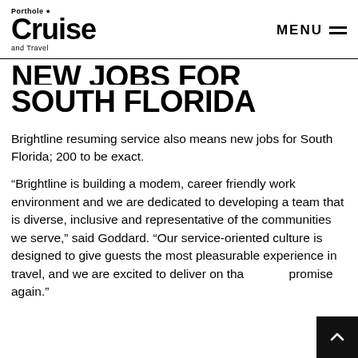Porthole Cruise and Travel — MENU
NEW JOBS FOR SOUTH FLORIDA
Brightline resuming service also means new jobs for South Florida; 200 to be exact.
“Brightline is building a modern, career friendly work environment and we are dedicated to developing a team that is diverse, inclusive and representative of the communities we serve,” said Goddard. “Our service-oriented culture is designed to give guests the most pleasurable experience in travel, and we are excited to deliver on that promise again.”